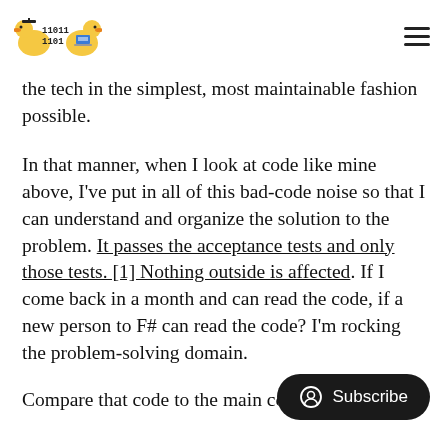110110 11010 [logo with duck icon]
the tech in the simplest, most maintainable fashion possible.
In that manner, when I look at code like mine above, I've put in all of this bad-code noise so that I can understand and organize the solution to the problem. It passes the acceptance tests and only those tests. [1] Nothing outside is affected. If I come back in a month and can read the code, if a new person to F# can read the code? I'm rocking the problem-solving domain.
Compare that code to the main code to a compiler